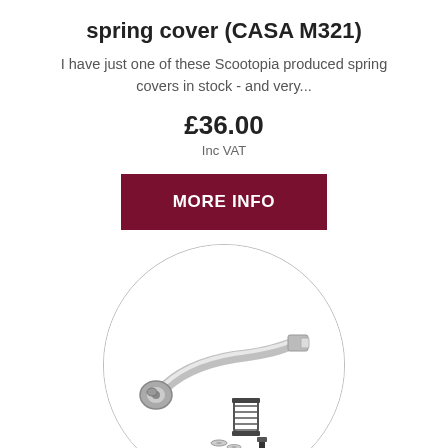spring cover (CASA M321)
I have just one of these Scootopia produced spring covers in stock - and very...
£36.00
Inc VAT
MORE INFO
[Figure (photo): A circular product image showing a chrome/silver gear shift lever arm with associated spring, washers and bolt components on a white background.]